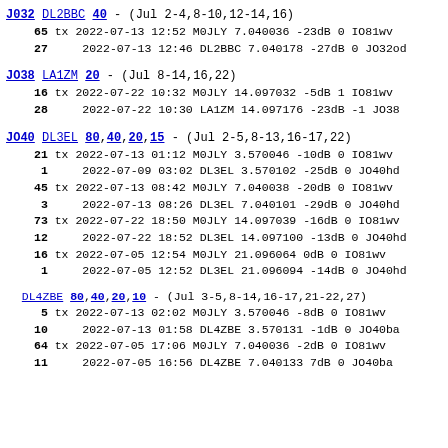J032 DL2BBC 40 - (Jul 2-4,8-10,12-14,16)
65 tx 2022-07-13 12:52 M0JLY 7.040036 -23dB 0 IO81wv
27    2022-07-13 12:46 DL2BBC 7.040178 -27dB 0 JO32od
JO38 LA1ZM 20 - (Jul 8-14,16,22)
16 tx 2022-07-22 10:32 M0JLY 14.097032 -5dB 1 IO81wv
28    2022-07-22 10:30 LA1ZM 14.097176 -23dB -1 JO38
JO40 DL3EL 80,40,20,15 - (Jul 2-5,8-13,16-17,22)
21 tx 2022-07-13 01:12 M0JLY 3.570046 -10dB 0 IO81wv
1     2022-07-09 03:02 DL3EL 3.570102 -25dB 0 JO40hd
45 tx 2022-07-13 08:42 M0JLY 7.040038 -20dB 0 IO81wv
3     2022-07-13 08:26 DL3EL 7.040101 -29dB 0 JO40hd
73 tx 2022-07-22 18:50 M0JLY 14.097039 -16dB 0 IO81wv
12    2022-07-22 18:52 DL3EL 14.097100 -13dB 0 JO40hd
16 tx 2022-07-05 12:54 M0JLY 21.096064 0dB 0 IO81wv
1     2022-07-05 12:52 DL3EL 21.096094 -14dB 0 JO40hd
DL4ZBE 80,40,20,10 - (Jul 3-5,8-14,16-17,21-22,27)
5  tx 2022-07-13 02:02 M0JLY 3.570046 -8dB 0 IO81wv
10    2022-07-13 01:58 DL4ZBE 3.570131 -1dB 0 JO40ba
64 tx 2022-07-05 17:06 M0JLY 7.040036 -2dB 0 IO81wv
11    2022-07-05 16:56 DL4ZBE 7.040133 7dB 0 JO40ba